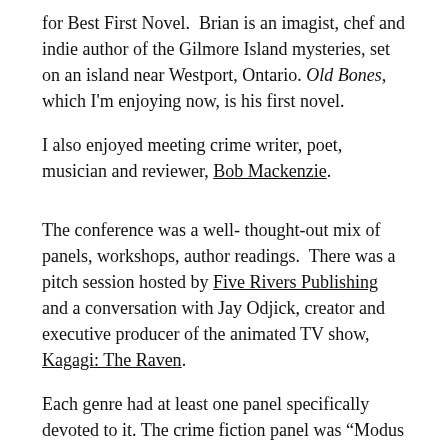for Best First Novel.  Brian is an imagist, chef and indie author of the Gilmore Island mysteries, set on an island near Westport, Ontario. Old Bones, which I'm enjoying now, is his first novel.
I also enjoyed meeting crime writer, poet, musician and reviewer, Bob Mackenzie.
The conference was a well- thought-out mix of panels, workshops, author readings.  There was a pitch session hosted by Five Rivers Publishing and a conversation with Jay Odjick, creator and executive producer of the animated TV show, Kagagi: The Raven.
Each genre had at least one panel specifically devoted to it. The crime fiction panel was “Modus Operandi, From Cozies to Private Eyes”, a broad topic to be sure